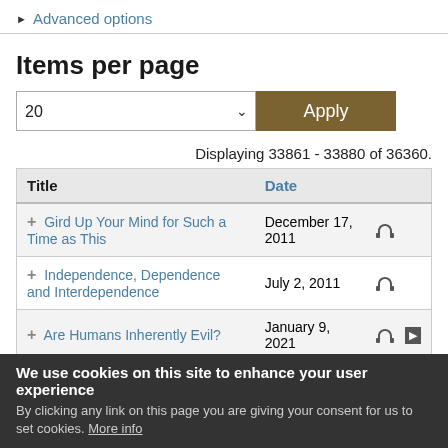▶ Advanced options
Items per page
Displaying 33861 - 33880 of 36360.
| Title | Date |  |
| --- | --- | --- |
| + Gird Up Your Mind for Such a Time as This | December 17, 2011 | [headphones] |
| + Independence, Dependence and Interdependence | July 2, 2011 | [headphones] |
| + Are Humans Inherently Evil? | January 9, 2021 | [headphones][video] |
| + Rooting Out the Passion Killers | October 29, ... | [headphones] |
| + [partially visible] | June 3, 2017 | [headphones] |
We use cookies on this site to enhance your user experience
By clicking any link on this page you are giving your consent for us to set cookies. More info